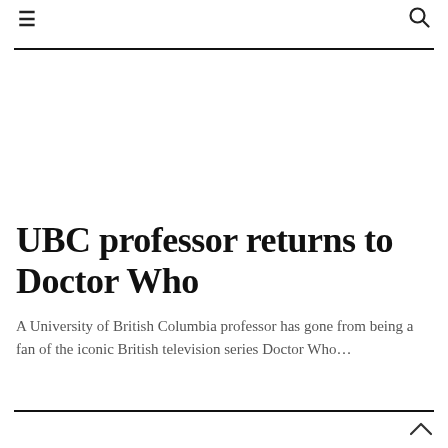≡  🔍
UBC professor returns to Doctor Who
A University of British Columbia professor has gone from being a fan of the iconic British television series Doctor Who...